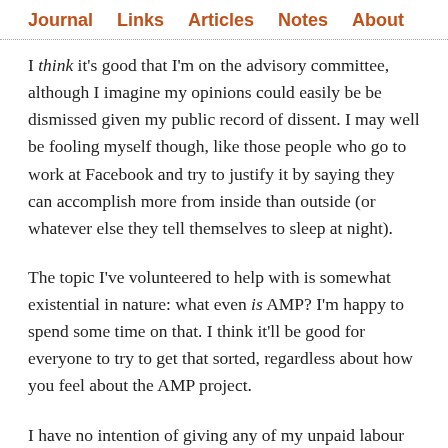Journal   Links   Articles   Notes   About
I think it's good that I'm on the advisory committee, although I imagine my opinions could easily be be dismissed given my public record of dissent. I may well be fooling myself though, like those people who go to work at Facebook and try to justify it by saying they can accomplish more from inside than outside (or whatever else they tell themselves to sleep at night).
The topic I've volunteered to help with is somewhat existential in nature: what even is AMP? I'm happy to spend some time on that. I think it'll be good for everyone to try to get that sorted, regardless about how you feel about the AMP project.
I have no intention of giving any of my unpaid labour towards the actual components themselves. I know AMP is theoretically open source now, but let's face it, it'll always be